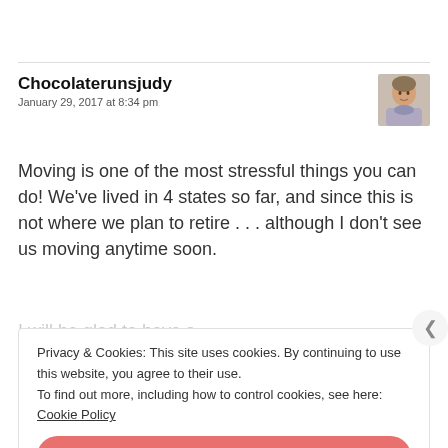Chocolaterunsjudy
January 29, 2017 at 8:34 pm
[Figure (photo): Avatar photo of a woman wearing a scarf]
Moving is one of the most stressful things you can do! We've lived in 4 states so far, and since this is not where we plan to retire . . . although I don't see us moving anytime soon.
Privacy & Cookies: This site uses cookies. By continuing to use this website, you agree to their use.
To find out more, including how to control cookies, see here: Cookie Policy
Close and accept